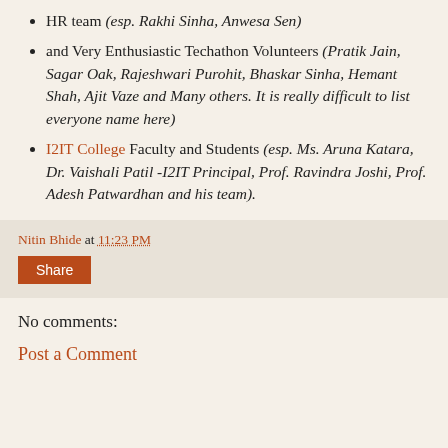HR team (esp. Rakhi Sinha, Anwesa Sen)
and Very Enthusiastic Techathon Volunteers (Pratik Jain, Sagar Oak, Rajeshwari Purohit, Bhaskar Sinha, Hemant Shah, Ajit Vaze and Many others. It is really difficult to list everyone name here)
I2IT College Faculty and Students (esp. Ms. Aruna Katara, Dr. Vaishali Patil -I2IT Principal, Prof. Ravindra Joshi, Prof. Adesh Patwardhan and his team).
Nitin Bhide at 11:23 PM
Share
No comments:
Post a Comment